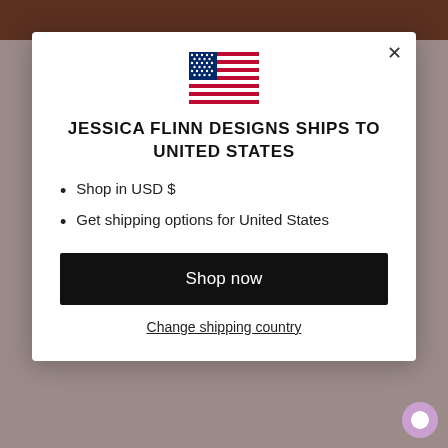[Figure (illustration): US flag emoji/icon centered at top of modal]
JESSICA FLINN DESIGNS SHIPS TO UNITED STATES
Shop in USD $
Get shipping options for United States
Shop now
Change shipping country